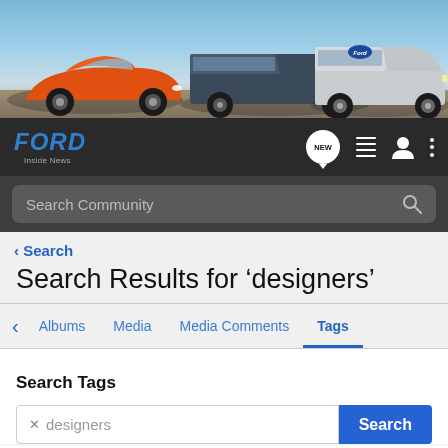[Figure (photo): Ford Inside News website banner featuring an orange Ford Mustang on the left and two silver/dark Ford trucks on the right against a sky background]
FORD Inside News — navigation bar with NEW, list, user, and menu icons
Search Community
< Search
Search Results for ‘designers’
Albums   Media   Media Comments   Tags
Search Tags
× designers   Search